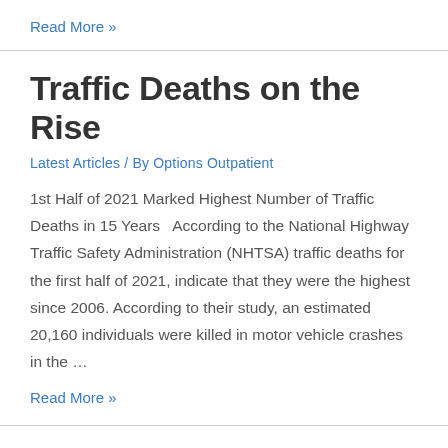Read More »
Traffic Deaths on the Rise
Latest Articles / By Options Outpatient
1st Half of 2021 Marked Highest Number of Traffic Deaths in 15 Years  According to the National Highway Traffic Safety Administration (NHTSA) traffic deaths for the first half of 2021, indicate that they were the highest since 2006. According to their study, an estimated 20,160 individuals were killed in motor vehicle crashes in the …
Read More »
The New 988 Number